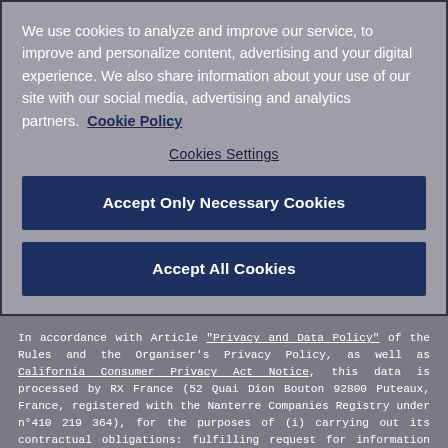We use cookies to analyze and improve our service, to improve and personalize content, advertising and your digital experience. We also share information about your use of our site with our social media, advertising and analytics partners.  Cookie Policy
Cookies Settings
Accept Only Necessary Cookies
Accept All Cookies
In accordance with Article "Privacy and Data Policy" of the Rules and the Organiser's Privacy Policy, as well as California Consumer Privacy Act Notice, this data is processed by RX France (52 Quai Dion Bouton 92800 Puteaux, France, registered with the Nanterre Companies Registry under n°410 219 364), for the purposes of (i) carrying out its contractual obligations: fulfilling request for information or content, registration, Online Database, or for (ii) newsletter, promotional communication or promotional analysis. Such data (i) is stored for a maximum duration of 3 years or 10 years if your personal data are used in the framework of a contract with the Organiser, and (ii) may be